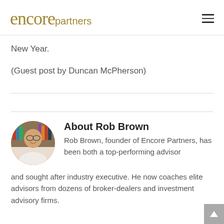encore partners
New Year.
(Guest post by Duncan McPherson)
[Figure (photo): Circular portrait photo of Rob Brown, a smiling middle-aged man with glasses, wearing a light-colored shirt, with bookshelves in the background]
About Rob Brown
Rob Brown, founder of Encore Partners, has been both a top-performing advisor and sought after industry executive. He now coaches elite advisors from dozens of broker-dealers and investment advisory firms.